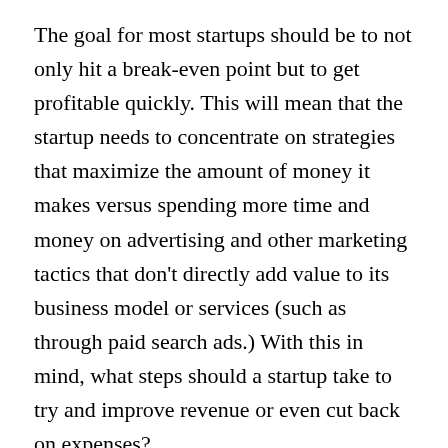The goal for most startups should be to not only hit a break-even point but to get profitable quickly. This will mean that the startup needs to concentrate on strategies that maximize the amount of money it makes versus spending more time and money on advertising and other marketing tactics that don't directly add value to its business model or services (such as through paid search ads.) With this in mind, what steps should a startup take to try and improve revenue or even cut back on expenses?
There are many ways to cut down on your business expenses: from making use of more efficient machinery or equipment to re-